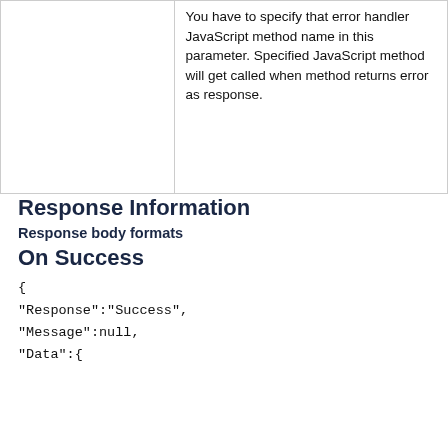|  | You have to specify that error handler JavaScript method name in this parameter. Specified JavaScript method will get called when method returns error as response. |
Response Information
Response body formats
On Success
{
"Response":"Success",
"Message":null,
"Data":{